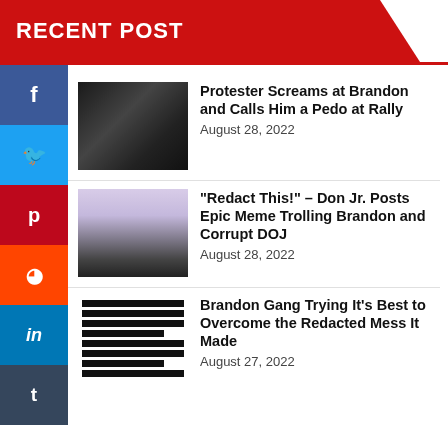RECENT POST
[Figure (photo): Dark photo of people at a rally event]
Protester Screams at Brandon and Calls Him a Pedo at Rally
August 28, 2022
[Figure (photo): Man in suit speaking at a podium with purple tie]
“Redact This!” – Don Jr. Posts Epic Meme Trolling Brandon and Corrupt DOJ
August 28, 2022
[Figure (photo): Redacted document with black bars and a silhouette]
Brandon Gang Trying It’s Best to Overcome the Redacted Mess It Made
August 27, 2022